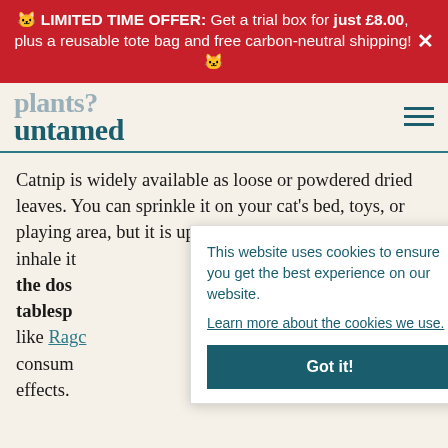🐱 LIMITED TIME OFFER: Get a trial box for just £8.00, plus a reusable tote bag and free carbon-neutral shipping! 🐱
[Figure (logo): Untamed cat food brand logo with 'plants?' text above in faded teal and 'untamed' in bold teal below, plus hamburger menu icon]
Catnip is widely available as loose or powdered dried leaves. You can sprinkle it on your cat's bed, toys, or playing area, but it is up to them whether they lick or inhale it the dosa tablespoon like Ragc consum effects.
This website uses cookies to ensure you get the best experience on our website.
Learn more about the cookies we use.
Got it!